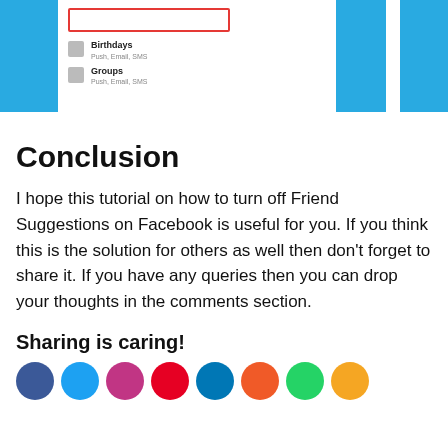[Figure (screenshot): Partial screenshot of a Facebook notification settings menu showing Birthdays and Groups options with Push, Email, SMS labels, flanked by blue blocks on left, middle, and right sides. A red rectangle highlights a menu element at the top.]
Conclusion
I hope this tutorial on how to turn off Friend Suggestions on Facebook is useful for you. If you think this is the solution for others as well then don't forget to share it. If you have any queries then you can drop your thoughts in the comments section.
Sharing is caring!
[Figure (illustration): Row of social media sharing icon circles: Facebook (blue), Twitter (light blue), Instagram (purple/pink), Pinterest (red), LinkedIn (blue), Reddit (orange), WhatsApp (green), and one more (orange).]